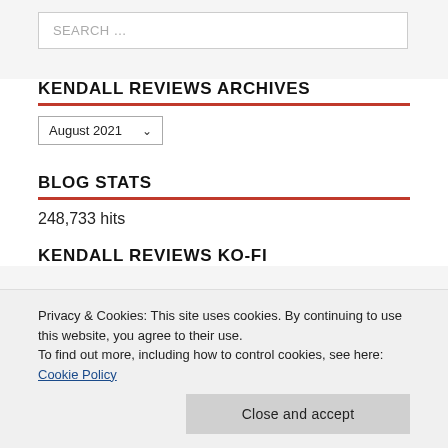SEARCH …
KENDALL REVIEWS ARCHIVES
August 2021
BLOG STATS
248,733 hits
KENDALL REVIEWS KO-FI
Privacy & Cookies: This site uses cookies. By continuing to use this website, you agree to their use.
To find out more, including how to control cookies, see here: Cookie Policy
Close and accept